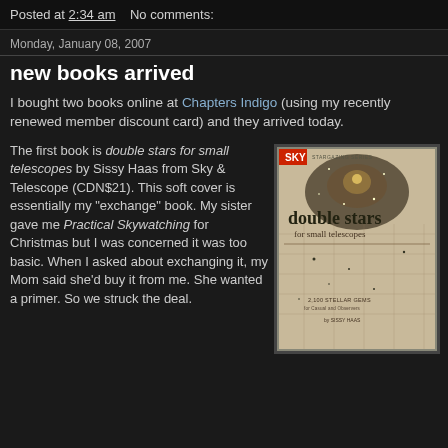Posted at 2:34 am   No comments:
Monday, January 08, 2007
new books arrived
I bought two books online at Chapters Indigo (using my recently renewed member discount card) and they arrived today.
The first book is double stars for small telescopes by Sissy Haas from Sky & Telescope (CDN$21). This soft cover is essentially my "exchange" book. My sister gave me Practical Skywatching for Christmas but I was concerned it was too basic. When I asked about exchanging it, my Mom said she'd buy it from me. She wanted a primer. So we struck the deal.
[Figure (photo): Book cover of 'double stars for small telescopes' published by Sky & Telescope, showing starfield background with text '2,100 STELLAR GEMS for Casual and Observers' by Sissy Haas]